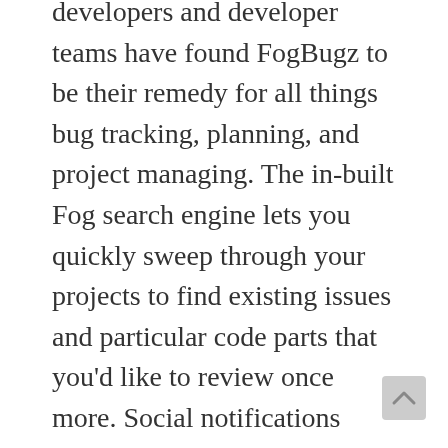developers and developer teams have found FogBugz to be their remedy for all things bug tracking, planning, and project managing. The in-built Fog search engine lets you quickly sweep through your projects to find existing issues and particular code parts that you'd like to review once more. Social notifications keep every team member up to speed with what's going on with their assigned issues. Create visual boards of project timelines and how particular issues are being handled.
You could create backlogs for future reference and revert any changes if a mistake was made. Intuitive reporting algorithm can monitor team performance and do prediction based analysis of whether a project can be completed on time.